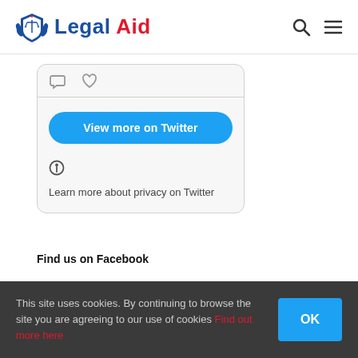[Figure (logo): Legal Aid website logo with shield icon, 'Legal' in dark blue and 'Aid' in red]
[Figure (screenshot): Twitter embedded widget showing tweet interaction icons (comment and like), a 'View more on Twitter' blue button, and a 'Learn more about privacy on Twitter' info line]
Find us on Facebook
This site uses cookies. By continuing to browse the site you are agreeing to our use of cookies Find out more here